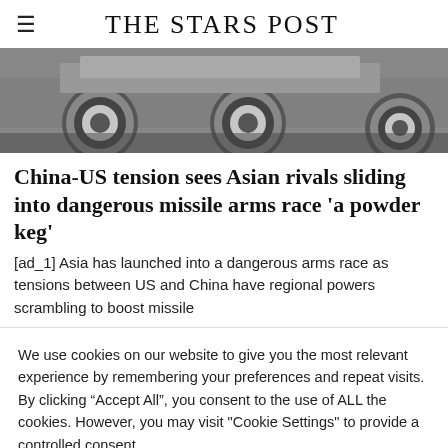THE STARS POST
[Figure (photo): Grayscale photo of military vehicles/missiles viewed from behind, showing large circular wheel hubs]
China-US tension sees Asian rivals sliding into dangerous missile arms race 'a powder keg'
[ad_1] Asia has launched into a dangerous arms race as tensions between US and China have regional powers scrambling to boost missile
We use cookies on our website to give you the most relevant experience by remembering your preferences and repeat visits. By clicking “Accept All”, you consent to the use of ALL the cookies. However, you may visit "Cookie Settings" to provide a controlled consent.